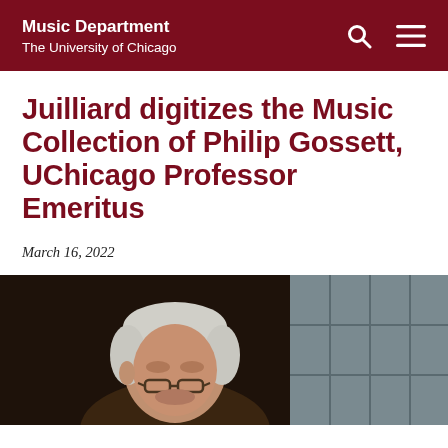Music Department
The University of Chicago
Juilliard digitizes the Music Collection of Philip Gossett, UChicago Professor Emeritus
March 16, 2022
[Figure (photo): Elderly man with glasses looking down, seated near a window with a leaded glass pane visible in the background, dim warm indoor lighting]